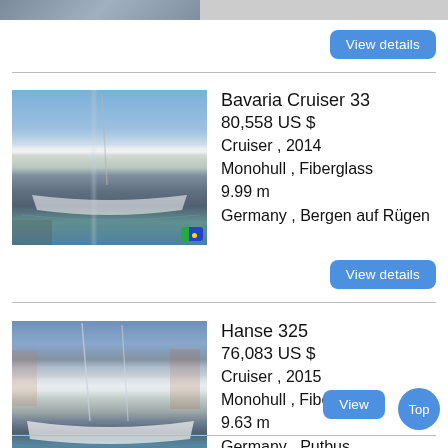[Figure (photo): Partial boat photo at top of page, cropped]
View details
[Figure (photo): Bavaria Cruiser 33 sailboat docked at marina, white hull, cloudy sky]
Bavaria Cruiser 33
80,558 US $
Cruiser , 2014
Monohull , Fiberglass
9.99 m
Germany , Bergen auf Rügen
View details
[Figure (photo): Hanse 325 sailboat docked at marina, white hull, colorful buildings in background]
Hanse 325
76,083 US $
Cruiser , 2015
Monohull , Fiberglass
9.63 m
Germany , Putbus
View
Top